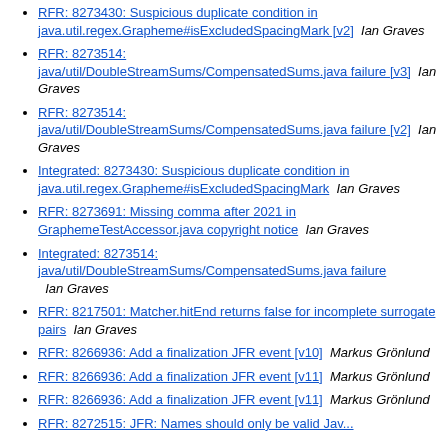RFR: 8273430: Suspicious duplicate condition in java.util.regex.Grapheme#isExcludedSpacingMark [v2]  Ian Graves
RFR: 8273514: java/util/DoubleStreamSums/CompensatedSums.java failure [v3]  Ian Graves
RFR: 8273514: java/util/DoubleStreamSums/CompensatedSums.java failure [v2]  Ian Graves
Integrated: 8273430: Suspicious duplicate condition in java.util.regex.Grapheme#isExcludedSpacingMark  Ian Graves
RFR: 8273691: Missing comma after 2021 in GraphemeTestAccessor.java copyright notice  Ian Graves
Integrated: 8273514: java/util/DoubleStreamSums/CompensatedSums.java failure  Ian Graves
RFR: 8217501: Matcher.hitEnd returns false for incomplete surrogate pairs  Ian Graves
RFR: 8266936: Add a finalization JFR event [v10]  Markus Grönlund
RFR: 8266936: Add a finalization JFR event [v11]  Markus Grönlund
RFR: 8266936: Add a finalization JFR event [v11]  Markus Grönlund
RFR: 8272515: JFR: Names should only be valid Jav...